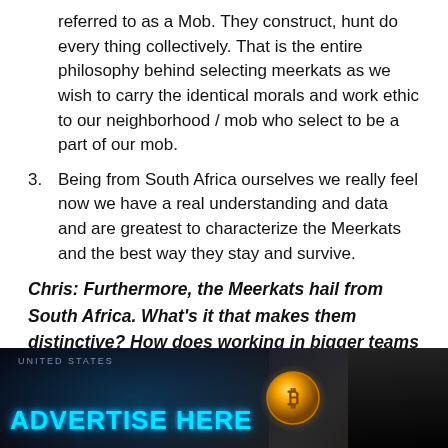referred to as a Mob. They construct, hunt do every thing collectively. That is the entire philosophy behind selecting meerkats as we wish to carry the identical morals and work ethic to our neighborhood / mob who select to be a part of our mob.
3. Being from South Africa ourselves we really feel now we have a real understanding and data and are greatest to characterize the Meerkats and the best way they stay and survive.
Chris: Furthermore, the Meerkats hail from South Africa. What's it that makes them distinctive? How does working in bigger teams assist the event of the
[Figure (photo): Advertisement banner with dark background showing a map of United States, a glowing gold Bitcoin coin, and a phone. Text reads 'ADVERTISE HERE' in cyan/light blue with glow effect.]